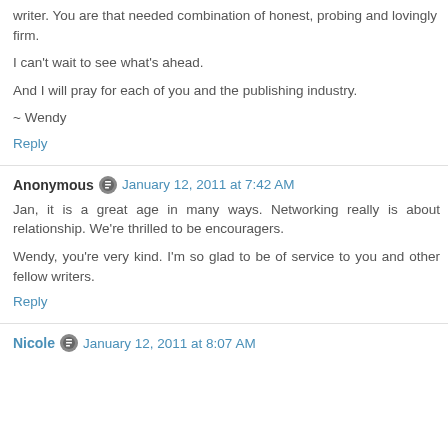writer. You are that needed combination of honest, probing and lovingly firm.
I can't wait to see what's ahead.
And I will pray for each of you and the publishing industry.
~ Wendy
Reply
Anonymous  January 12, 2011 at 7:42 AM
Jan, it is a great age in many ways. Networking really is about relationship. We're thrilled to be encouragers.
Wendy, you're very kind. I'm so glad to be of service to you and other fellow writers.
Reply
Nicole  January 12, 2011 at 8:07 AM